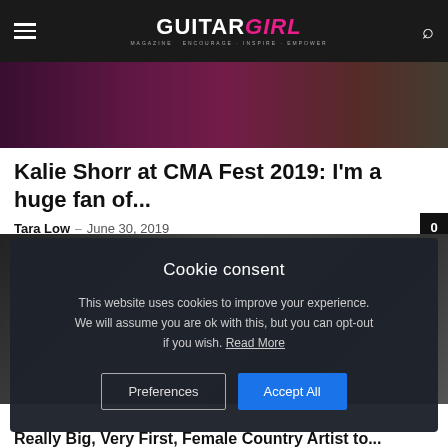Guitar Girl Magazine — ENCOURAGE · INSPIRE · EMPOWER
[Figure (photo): Concert photo showing someone playing guitar under purple/pink stage lighting]
Kalie Shorr at CMA Fest 2019: I'm a huge fan of...
Tara Low – June 30, 2019
[Figure (screenshot): Cookie consent modal overlay on top of article image. Title: Cookie consent. Body: This website uses cookies to improve your experience. We will assume you are ok with this, but you can opt-out if you wish. Read More. Buttons: Preferences, Accept All]
Really Big, Very First, Female Country Artist to...